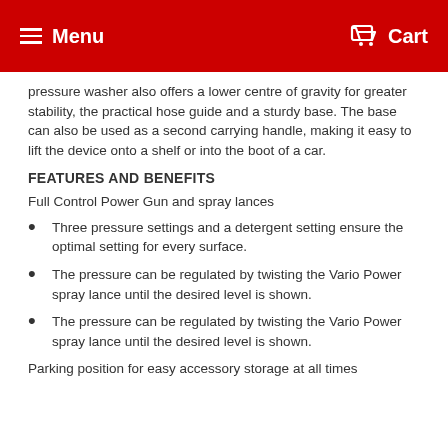Menu  Cart
pressure washer also offers a lower centre of gravity for greater stability, the practical hose guide and a sturdy base. The base can also be used as a second carrying handle, making it easy to lift the device onto a shelf or into the boot of a car.
FEATURES AND BENEFITS
Full Control Power Gun and spray lances
Three pressure settings and a detergent setting ensure the optimal setting for every surface.
The pressure can be regulated by twisting the Vario Power spray lance until the desired level is shown.
The pressure can be regulated by twisting the Vario Power spray lance until the desired level is shown.
Parking position for easy accessory storage at all times